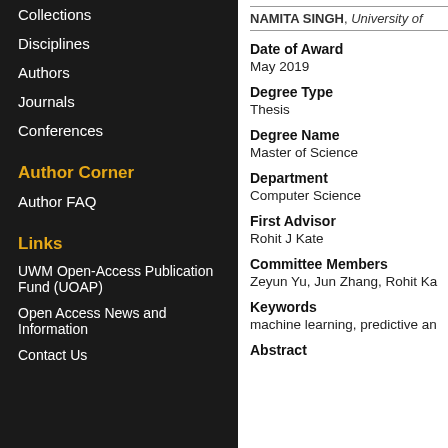Collections
Disciplines
Authors
Journals
Conferences
Author Corner
Author FAQ
Links
UWM Open-Access Publication Fund (UOAP)
Open Access News and Information
Contact Us
NAMITA SINGH, University of
Date of Award
May 2019
Degree Type
Thesis
Degree Name
Master of Science
Department
Computer Science
First Advisor
Rohit J Kate
Committee Members
Zeyun Yu, Jun Zhang, Rohit Ka
Keywords
machine learning, predictive an
Abstract